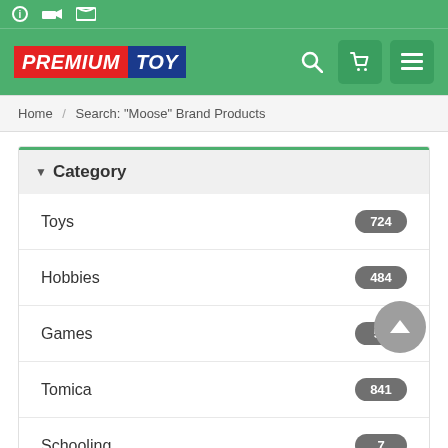Premium Toy - navigation bar with logo, search, cart, and menu icons
Home / Search: "Moose" Brand Products
Category
Toys 724
Hobbies 484
Games 53
Tomica 841
Schooling 7
Hobbies and...